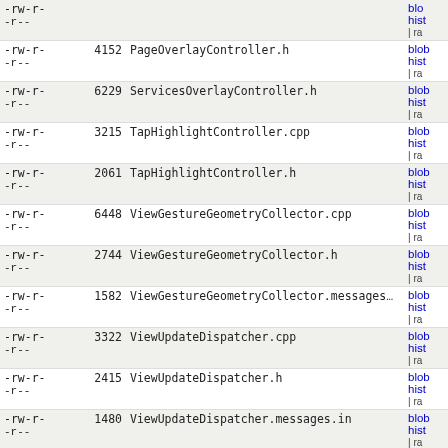| permissions | size | filename | links |
| --- | --- | --- | --- |
| -rw-r- / -r-- |  |  | blo / hist / | ra |
| -rw-r- / -r-- | 4152 | PageOverlayController.h | blob / hist / | ra |
| -rw-r- / -r-- | 6229 | ServicesOverlayController.h | blob / hist / | ra |
| -rw-r- / -r-- | 3215 | TapHighlightController.cpp | blob / hist / | ra |
| -rw-r- / -r-- | 2061 | TapHighlightController.h | blob / hist / | ra |
| -rw-r- / -r-- | 6448 | ViewGestureGeometryCollector.cpp | blob / hist / | ra |
| -rw-r- / -r-- | 2744 | ViewGestureGeometryCollector.h | blob / hist / | ra |
| -rw-r- / -r-- | 1582 | ViewGestureGeometryCollector.messages.in | blob / hist / | ra |
| -rw-r- / -r-- | 3322 | ViewUpdateDispatcher.cpp | blob / hist / | ra |
| -rw-r- / -r-- | 2415 | ViewUpdateDispatcher.h | blob / hist / | ra |
| -rw-r- / -r-- | 1480 | ViewUpdateDispatcher.messages.in | blob / hist / | ra |
| -rw-r- / -r-- | 4543 | VisitedLinkTableController.cpp | blob / hist / | ra |
| -rw-r- / -r-- | 2591 | VisitedLinkTableController.h | blob |